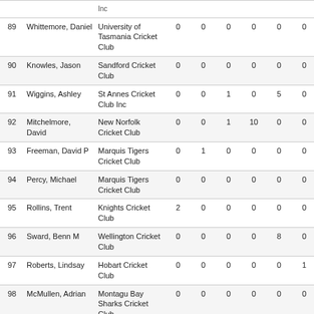|  |  |  |  |  |  |  |  |  |
| --- | --- | --- | --- | --- | --- | --- | --- | --- |
| 89 | Whittemore, Daniel | University of Tasmania Cricket Club | 0 | 0 | 0 | 0 | 0 | 0 |
| 90 | Knowles, Jason | Sandford Cricket Club | 0 | 0 | 0 | 0 | 0 | 0 |
| 91 | Wiggins, Ashley | St Annes Cricket Club Inc | 0 | 0 | 1 | 0 | 5 | 0 |
| 92 | Mitchelmore, David | New Norfolk Cricket Club | 0 | 0 | 1 | 10 | 0 | 0 |
| 93 | Freeman, David P | Marquis Tigers Cricket Club | 0 | 1 | 0 | 0 | 0 | 0 |
| 94 | Percy, Michael | Marquis Tigers Cricket Club | 0 | 0 | 0 | 0 | 0 | 0 |
| 95 | Rollins, Trent | Knights Cricket Club | 2 | 0 | 0 | 0 | 0 | 0 |
| 96 | Sward, Benn M | Wellington Cricket Club | 0 | 0 | 0 | 0 | 8 | 0 |
| 97 | Roberts, Lindsay | Hobart Cricket Club | 0 | 0 | 0 | 0 | 0 | 1 |
| 98 | McMullen, Adrian | Montagu Bay Sharks Cricket Club | 0 | 0 | 0 | 0 | 0 | 0 |
| 99 | Conlan, Matt | Montagu Bay Sharks Cricket Club | 0 | 1 | 0 | 0 | 0 | 5 |
| 100 | Mackey, Luke | Montagu Bay Sharks | 0 | 1 | 0 | 1 | 0 | 3 |